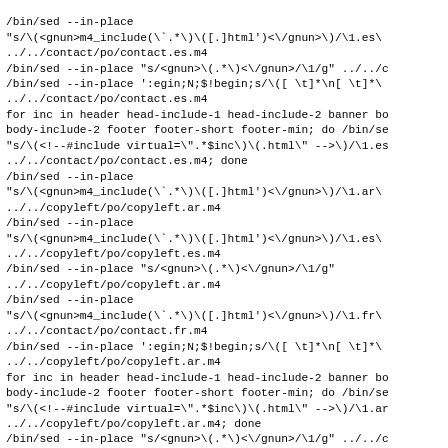/bin/sed --in-place
"s/\(<gnun>m4_include(\`.*\)\([.]html')< \/gnun>\)/\1.es\
../../contact/po/contact.es.m4
/bin/sed --in-place "s/<gnun>\(.*\)<\/gnun>/\1/g" ../../c
/bin/sed --in-place ':egin;N;$!begin;s/\([ \t]*\n[ \t]*\
../../contact/po/contact.es.m4
for inc in header head-include-1 head-include-2 banner bo
body-include-2 footer footer-short footer-min; do /bin/se
"s/\(<!--#include virtual=\".*$inc\)\(.html\" -->\)/\1.es
../../contact/po/contact.es.m4; done
/bin/sed --in-place
"s/\(<gnun>m4_include(\`.*\)\([.]html')< \/gnun>\)/\1.ar\
../../copyleft/po/copyleft.ar.m4
/bin/sed --in-place
"s/\(<gnun>m4_include(\`.*\)\([.]html')< \/gnun>\)/\1.es\
../../copyleft/po/copyleft.es.m4
/bin/sed --in-place "s/<gnun>\(.*\)<\/gnun>/\1/g"
../../copyleft/po/copyleft.ar.m4
/bin/sed --in-place
"s/\(<gnun>m4_include(\`.*\)\([.]html')< \/gnun>\)/\1.fr\
../../contact/po/contact.fr.m4
/bin/sed --in-place ':egin;N;$!begin;s/\([ \t]*\n[ \t]*\
../../copyleft/po/copyleft.ar.m4
for inc in header head-include-1 head-include-2 banner bo
body-include-2 footer footer-short footer-min; do /bin/se
"s/\(<!--#include virtual=\".*$inc\)\(.html\" -->\)/\1.ar
../../copyleft/po/copyleft.ar.m4; done
/bin/sed --in-place "s/<gnun>\(.*\)<\/gnun>/\1/g" ../../c
/bin/sed --in-place "s/<gnun>\(.*\)<\/gnun>/\1/g"
../../copyleft/po/copyleft.es.m4
/bin/sed --in-place ':egin;N;$!begin;s/\([ \t]*\n[ \t]*\